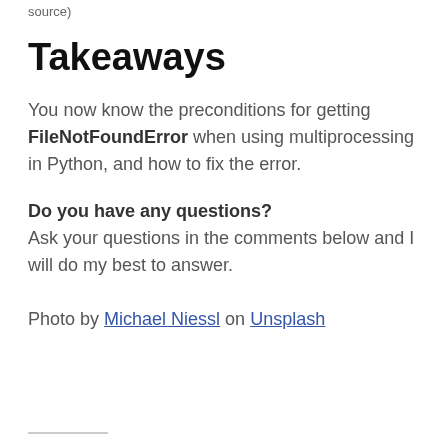source)
Takeaways
You now know the preconditions for getting FileNotFoundError when using multiprocessing in Python, and how to fix the error.
Do you have any questions? Ask your questions in the comments below and I will do my best to answer.
Photo by Michael Niessl on Unsplash